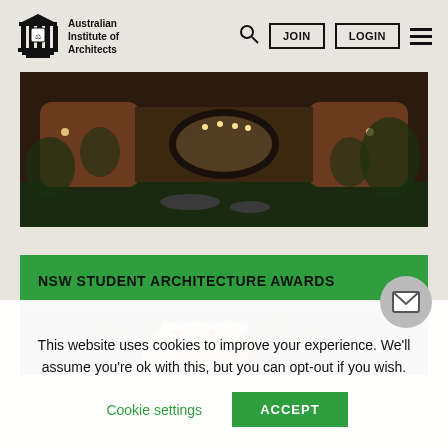[Figure (logo): Australian Institute of Architects logo with architectural column icon and text]
Australian Institute of Architects  JOIN  LOGIN
[Figure (photo): Exterior photo of a large modern building with rammed earth walls and an elliptical opening, surrounded by landscaping, taken at dusk]
NSW STUDENT ARCHITECTURE AWARDS →
[Figure (photo): Close-up photo of architectural model or building detail with cylindrical forms and plants]
This website uses cookies to improve your experience. We'll assume you're ok with this, but you can opt-out if you wish.
Cookie settings   ACCEPT